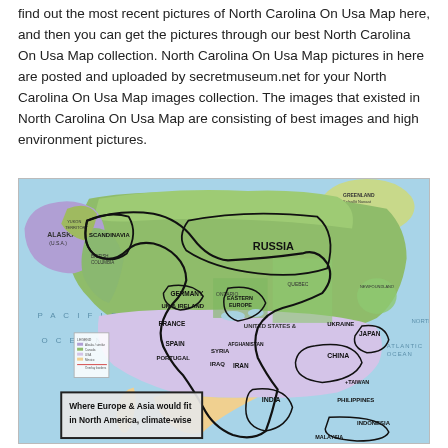find out the most recent pictures of North Carolina On Usa Map here, and then you can get the pictures through our best North Carolina On Usa Map collection. North Carolina On Usa Map pictures in here are posted and uploaded by secretmuseum.net for your North Carolina On Usa Map images collection. The images that existed in North Carolina On Usa Map are consisting of best images and high environment pictures.
[Figure (map): A map of North America overlaid with outlines and labels showing where various European and Asian countries/regions would fit climate-wise, including: SCANDINAVIA, RUSSIA, GERMANY, UK & IRELAND, FRANCE, EASTERN EUROPE, SPAIN, PORTUGAL, SYRIA, IRAQ, IRAN, AFGHANISTAN, UKRAINE, JAPAN, CHINA, TAIWAN, PHILIPPINES, INDIA, INDONESIA, MALAYSIA. A legend box in the lower left reads: 'Where Europe & Asia would fit in North America, climate-wise'. The ocean areas are labeled: PACIFIC OCEAN, ATLANTIC OCEAN, NORTH (Atlantic). The map shows Canada with provinces and Alaska highlighted. Various black outline overlays show country shapes placed over equivalent climate zones in North America.]